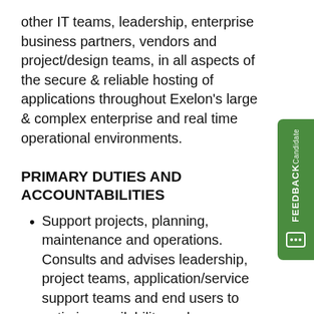other IT teams, leadership, enterprise business partners, vendors and project/design teams, in all aspects of the secure & reliable hosting of applications throughout Exelon's large & complex enterprise and real time operational environments.
PRIMARY DUTIES AND ACCOUNTABILITIES
Support projects, planning, maintenance and operations. Consults and advises leadership, project teams, application/service support teams and end users to optimize availability and performance analysis for potential changes related to [Insert systems here]. Provide technical expertise and guidance for